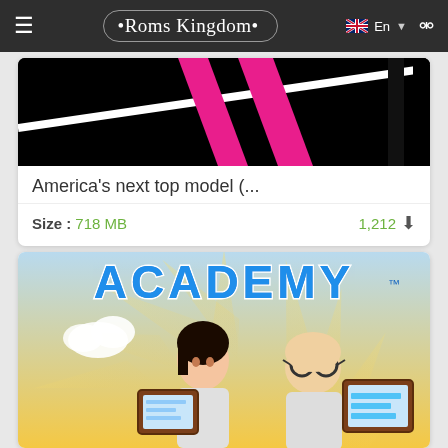Roms Kingdom — En
[Figure (screenshot): Cropped game cover image showing pink legs on black background (America's Next Top Model game)]
America's next top model (...
Size : 718 MB   1,212 downloads
[Figure (screenshot): Game cover image for Academy game showing animated characters including a woman and bespectacled man with tablets/frames]